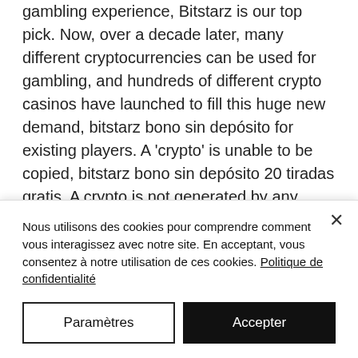gambling experience, Bitstarz is our top pick. Now, over a decade later, many different cryptocurrencies can be used for gambling, and hundreds of different crypto casinos have launched to fill this huge new demand, bitstarz bono sin depósito for existing players. A 'crypto' is unable to be copied, bitstarz bono sin depósito 20 tiradas gratis. A crypto is not generated by any single authority or bank therefore it cannot be altered or regulated by a Government or banking institution making it free from any interference. Cloudbet really excels in fund safety and security, providing dedicated cold
Nous utilisons des cookies pour comprendre comment vous interagissez avec notre site. En acceptant, vous consentez à notre utilisation de ces cookies. Politique de confidentialité
Paramètres
Accepter